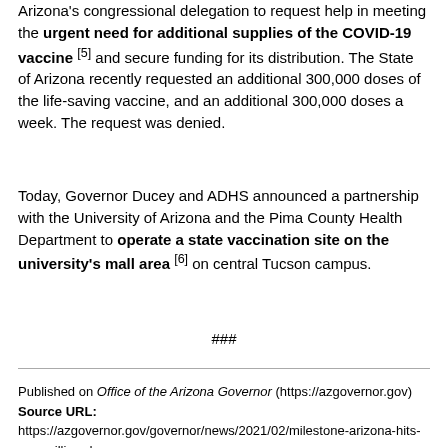Arizona's congressional delegation to request help in meeting the urgent need for additional supplies of the COVID-19 vaccine [5] and secure funding for its distribution. The State of Arizona recently requested an additional 300,000 doses of the life-saving vaccine, and an additional 300,000 doses a week. The request was denied.
Today, Governor Ducey and ADHS announced a partnership with the University of Arizona and the Pima County Health Department to operate a state vaccination site on the university's mall area [6] on central Tucson campus.
###
Published on Office of the Arizona Governor (https://azgovernor.gov)
Source URL: https://azgovernor.gov/governor/news/2021/02/milestone-arizona-hits-one-million-doses
Printed on: August 27, 2022 7:20 pm
Links
[1] https://azgovernor.gov/governor/news/2020/12/arrived-covid-19-vaccine-doses